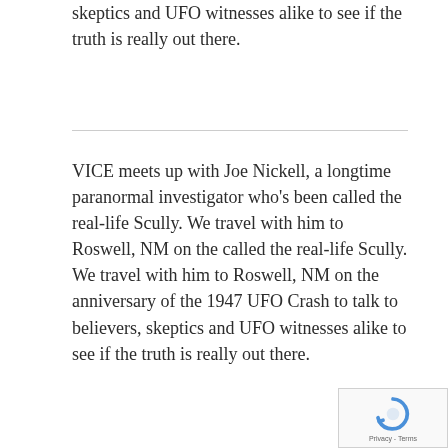skeptics and UFO witnesses alike to see if the truth is really out there.
VICE meets up with Joe Nickell, a longtime paranormal investigator who's been called the real-life Scully. We travel with him to Roswell, NM on the called the real-life Scully. We travel with him to Roswell, NM on the anniversary of the 1947 UFO Crash to talk to believers, skeptics and UFO witnesses alike to see if the truth is really out there.
VICE meets up with Joe Nickell, a longtime paranormal investigator who's been called the real-life Scully. We travel with him to Roswell, NM on the anniversary of the 1947 UFO Crash to talk to believers, skeptics and UFO witnesses alike to see if the truth is really out there. meets up with Joe Nickell, a longtime paranormal